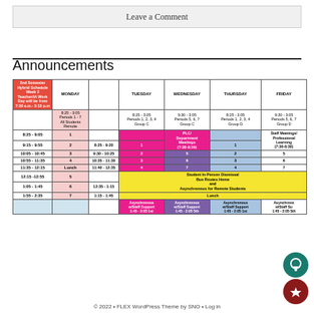Leave a Comment
Announcements
| 2nd Semester Hybrid Schedule Week 2 Teacher/IA Work Day will be from 7:30 a.m.- 3:15 p.m | MONDAY |  | TUESDAY | WEDNESDAY | THURSDAY | FRIDAY |
| --- | --- | --- | --- | --- | --- | --- |
|  | 8:25 - 3:05 Periods 1 - 7 All Students Remote |  | 8:25 - 3:05 Periods 1, 2, 3, 4 Group C | 9:30 - 3:05 Periods 5, 6, 7 Group C | 8:25 - 3:05 Periods 1, 2, 3, 4 Group D | 9:30 - 3:05 Periods 5, 6, 7 Group D |
| 8:25 - 9:05 | 1 |  |  | PLC/ Department Meetings (7:30-8:30) |  | Staff Meetings/ Professional Learning (7:30-8:30) |
| 9:15 - 9:55 | 2 | 8:25 - 9:20 | 1 |  | 1 |  |
| 10:05 - 10:45 | 3 | 9:30 - 10:25 | 2 | 5 | 2 | 5 |
| 10:55 - 11:35 | 4 | 10:35 - 11:30 | 3 | 6 | 3 | 6 |
| 11:35 - 12:15 | Lunch | 11:40 - 12:35 | 4 | 7 | 4 | 7 |
| 12:15 - 12:55 | 5 |  | Student In-Person Dismissal Bus Routes Home and Asynchronous for Remote Students |  |  |  |
| 1:05 - 1:45 | 6 | 12:35 - 1:15 |  |  |  |  |
| 1:55 - 2:35 | 7 | 1:15 - 1:45 | Lunch |  |  |  |
|  |  |  | Asynchronous w/Staff Support 1:45 - 2:05 1st | Asynchronous w/Staff Support 1:45 - 2:05 5th | Asynchronous w/Staff Support 1:45 - 2:05 1st | Asynchronous w/Staff Support 1:45 - 2:05 5th |
© 2022 • FLEX WordPress Theme by SNO • Log in